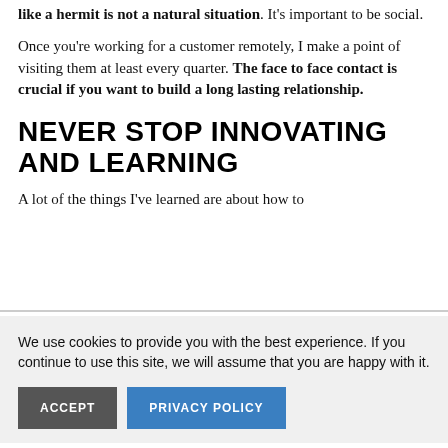like a hermit is not a natural situation. It's important to be social.
Once you're working for a customer remotely, I make a point of visiting them at least every quarter. The face to face contact is crucial if you want to build a long lasting relationship.
NEVER STOP INNOVATING AND LEARNING
A lot of the things I've learned are about how to
We use cookies to provide you with the best experience. If you continue to use this site, we will assume that you are happy with it.
ACCEPT    PRIVACY POLICY